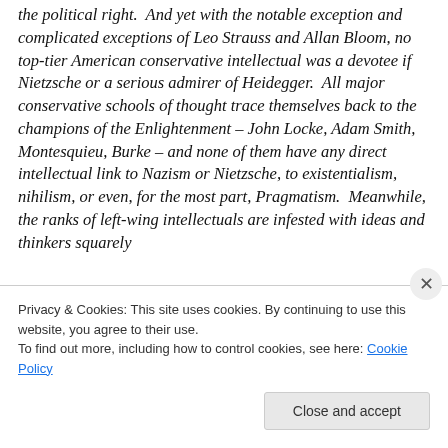the political right.  And yet with the notable exception and complicated exceptions of Leo Strauss and Allan Bloom, no top-tier American conservative intellectual was a devotee if Nietzsche or a serious admirer of Heidegger.  All major conservative schools of thought trace themselves back to the champions of the Enlightenment – John Locke, Adam Smith, Montesquieu, Burke – and none of them have any direct intellectual link to Nazism or Nietzsche, to existentialism, nihilism, or even, for the most part, Pragmatism.  Meanwhile, the ranks of left-wing intellectuals are infested with ideas and thinkers squarely
Privacy & Cookies: This site uses cookies. By continuing to use this website, you agree to their use.
To find out more, including how to control cookies, see here: Cookie Policy
Close and accept